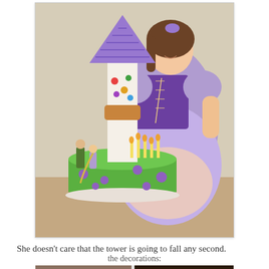[Figure (photo): A young girl dressed in a purple Rapunzel costume stands next to a Rapunzel-themed birthday cake. The cake features a tall tower with a purple conical roof, a green round base cake with purple polka dots, lit candles, and figurines of Rapunzel and Flynn Rider. The girl is smiling and looking down at the cake.]
She doesn't care that the tower is going to fall any second.
the decorations:
[Figure (photo): Partial view of cake decorations/figurines, partially cut off at the bottom of the page.]